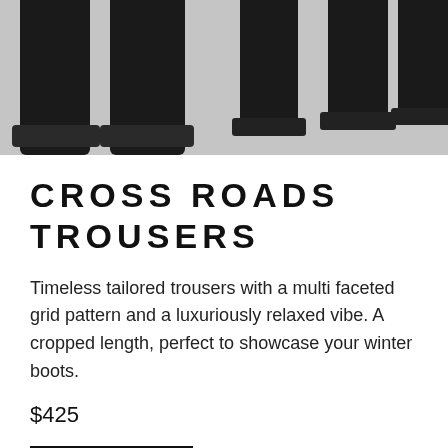[Figure (photo): Top portion of a photo showing multiple pairs of black boots/trouser legs against a light grey background]
CROSS ROADS TROUSERS
Timeless tailored trousers with a multi faceted grid pattern and a luxuriously relaxed vibe. A cropped length, perfect to showcase your winter boots.
$425
SHOP